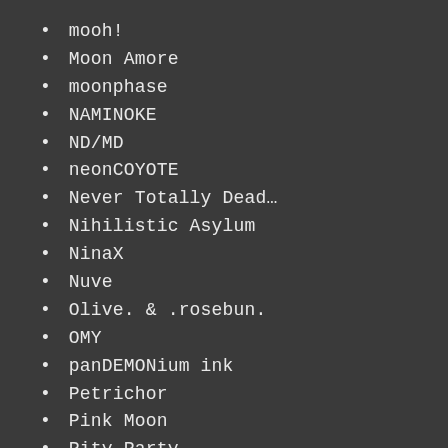mooh!
Moon Amore
moonphase
NAMINOKE
ND/MD
neonCOYOTE
Never Totally Dead…
Nihilistic Asylum
NinaX
Nuve
Olive. & .rosebun.
OMY
panDEMONium ink
Petrichor
Pink Moon
Pity Party
Poet's Heart